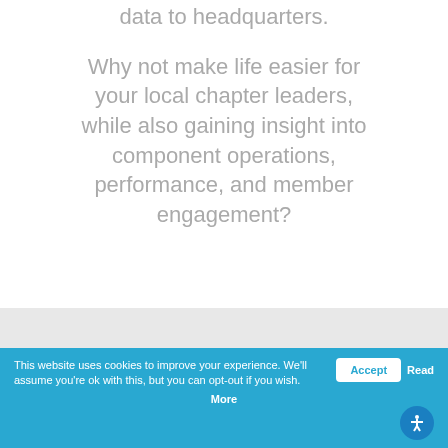data to headquarters.
Why not make life easier for your local chapter leaders, while also gaining insight into component operations, performance, and member engagement?
This website uses cookies to improve your experience. We'll assume you're ok with this, but you can opt-out if you wish. Accept Read More